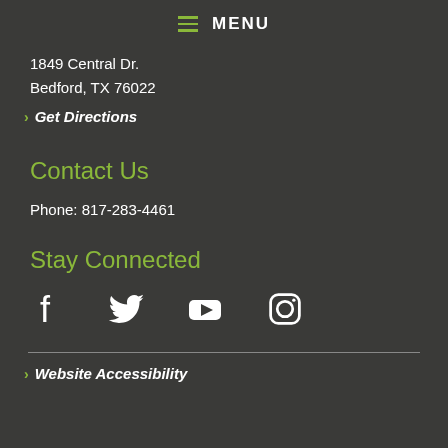MENU
1849 Central Dr.
Bedford, TX 76022
Get Directions
Contact Us
Phone: 817-283-4461
Stay Connected
[Figure (infographic): Social media icons: Facebook, Twitter, YouTube, Instagram]
Website Accessibility